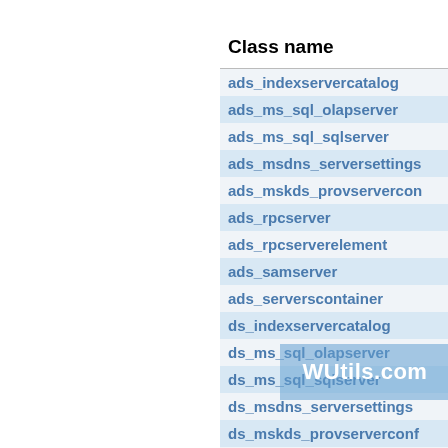| Class name |
| --- |
| ads_indexservercatalog |
| ads_ms_sql_olapserver |
| ads_ms_sql_sqlserver |
| ads_msdns_serversettings |
| ads_mskds_provservercon |
| ads_rpcserver |
| ads_rpcserverelement |
| ads_samserver |
| ads_serverscontainer |
| ds_indexservercatalog |
| ds_ms_sql_olapserver |
| ds_ms_sql_sqlserver |
| ds_msdns_serversettings |
| ds_mskds_provserverconf |
| ds_rpcserver |
| ds_... |
| ds_... |